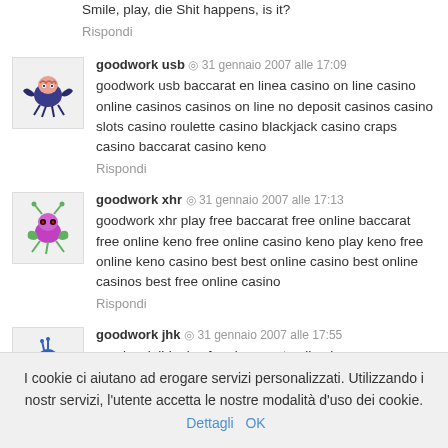Smile, play, die Shit happens, is it?
Rispondi
goodwork usb · 31 gennaio 2007 alle 17:09
goodwork usb baccarat en linea casino on line casino online casinos casinos on line no deposit casinos casino slots casino roulette casino blackjack casino craps casino baccarat casino keno
Rispondi
goodwork xhr · 31 gennaio 2007 alle 17:13
goodwork xhr play free baccarat free online baccarat free online keno free online casino keno play keno free online keno casino best best online casino best online casinos best free online casino
Rispondi
goodwork jhk · 31 gennaio 2007 alle 17:55
goodwork jhk play free baccarat online keno game online casino keno game free play keno free keno game best online casino play best
I cookie ci aiutano ad erogare servizi personalizzati. Utilizzando i nostri servizi, l'utente accetta le nostre modalità d'uso dei cookie. Dettagli OK